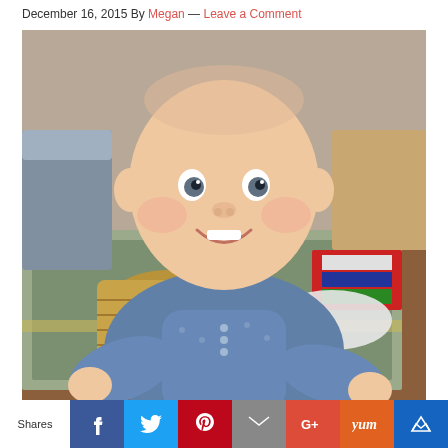December 16, 2015 By Megan — Leave a Comment
[Figure (photo): Smiling baby wearing a blue patterned long-sleeve shirt, sitting on a rug in a living room with a wicker basket and furniture in the background.]
Shares | Facebook | Twitter | Pinterest | Email | Google+ | Yum | (crown icon)